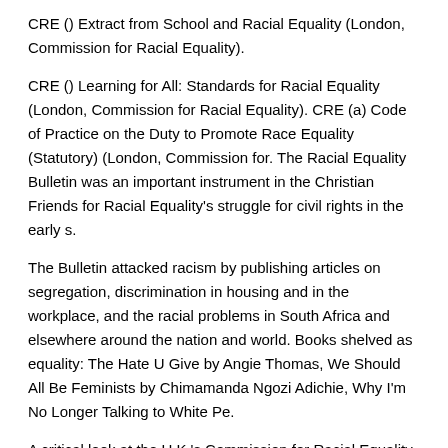CRE () Extract from School and Racial Equality (London, Commission for Racial Equality).
CRE () Learning for All: Standards for Racial Equality (London, Commission for Racial Equality). CRE (a) Code of Practice on the Duty to Promote Race Equality (Statutory) (London, Commission for. The Racial Equality Bulletin was an important instrument in the Christian Friends for Racial Equality's struggle for civil rights in the early s.
The Bulletin attacked racism by publishing articles on segregation, discrimination in housing and in the workplace, and the racial problems in South Africa and elsewhere around the nation and world. Books shelved as equality: The Hate U Give by Angie Thomas, We Should All Be Feminists by Chimamanda Ngozi Adichie, Why I'm No Longer Talking to White Pe.
A critical look at the U.K.'s Commission for Racial Equality (CRE), patterned after the American Congress of Racial Equality (CORE). The author seeks to show that there has been a serious misrepresentation of multiracial realities in Britain, and argues against